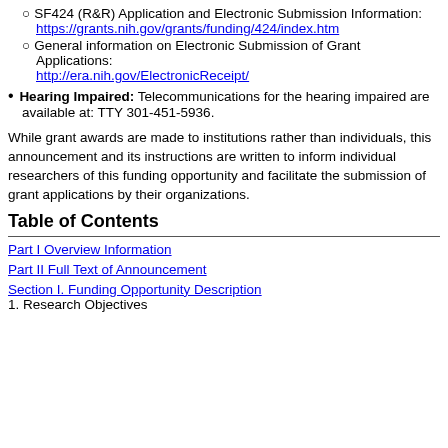SF424 (R&R) Application and Electronic Submission Information: https://grants.nih.gov/grants/funding/424/index.htm
General information on Electronic Submission of Grant Applications: http://era.nih.gov/ElectronicReceipt/
Hearing Impaired: Telecommunications for the hearing impaired are available at: TTY 301-451-5936.
While grant awards are made to institutions rather than individuals, this announcement and its instructions are written to inform individual researchers of this funding opportunity and facilitate the submission of grant applications by their organizations.
Table of Contents
Part I Overview Information
Part II Full Text of Announcement
Section I. Funding Opportunity Description
1. Research Objectives